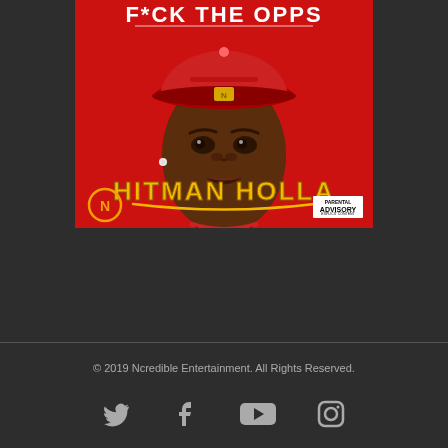[Figure (illustration): Album cover art for 'F*ck The Opps' by Hitman Holla. Red background with a cartoon/illustrated portrait of Hitman Holla wearing a red fitted cap. Text 'F*CK THE OPPS' at the top in white, 'HITMAN HOLLA' in yellow/gold at the bottom. Ncredible Entertainment logo (orange N in circle) at bottom left, Parental Advisory label at bottom right.]
© 2019 Ncredible Entertainment. All Rights Reserved.